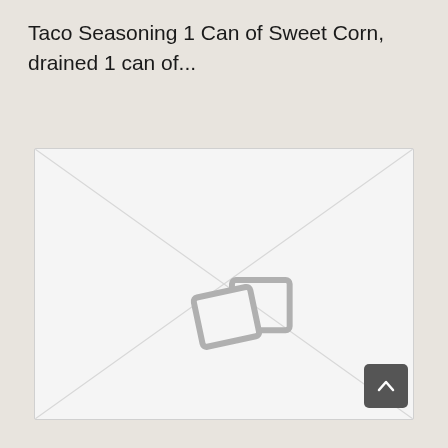Taco Seasoning 1 Can of Sweet Corn, drained 1 can of...
[Figure (photo): Placeholder image with diagonal lines and a broken image icon in the center, representing a missing or unavailable photo]